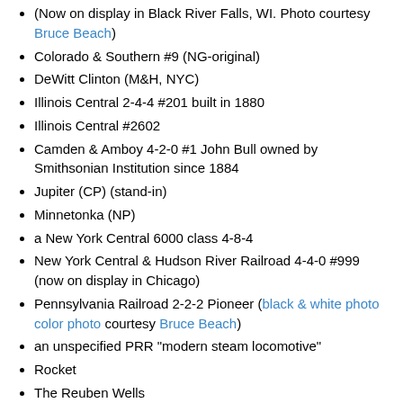(Now on display in Black River Falls, WI. Photo courtesy Bruce Beach)
Colorado & Southern #9 (NG-original)
DeWitt Clinton (M&H, NYC)
Illinois Central 2-4-4 #201 built in 1880
Illinois Central #2602
Camden & Amboy 4-2-0 #1 John Bull owned by Smithsonian Institution since 1884
Jupiter (CP) (stand-in)
Minnetonka (NP)
a New York Central 6000 class 4-8-4
New York Central & Hudson River Railroad 4-4-0 #999 (now on display in Chicago)
Pennsylvania Railroad 2-2-2 Pioneer (black & white photo color photo courtesy Bruce Beach)
an unspecified PRR "modern steam locomotive"
Rocket
The Reuben Wells